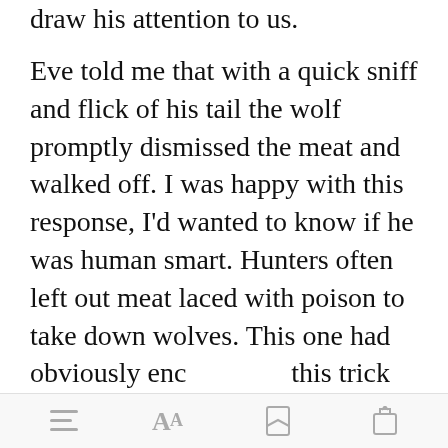draw his attention to us.
Eve told me that with a quick sniff and flick of his tail the wolf promptly dismissed the meat and walked off. I was happy with this response, I'd wanted to know if he was human smart. Hunters often left out meat laced with poison to take down wolves. This one had obviously encountered this trick before. I was pleased that our wolf
[Figure (screenshot): Green 'Open in app' button overlay on text]
Bottom navigation bar with menu, font size, bookmark, and share icons